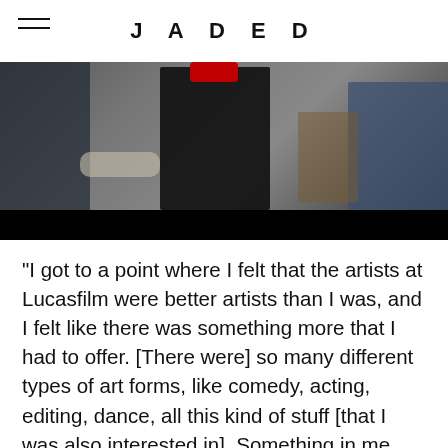JADED
[Figure (photo): A dark-toned photograph showing people in what appears to be a studio or workshop environment, with one person wearing a red hat/cap visible in the center. The bottom of the image fades to black.]
“I got to a point where I felt that the artists at Lucasfilm were better artists than I was, and I felt like there was something more that I had to offer. [There were] so many different types of art forms, like comedy, acting, editing, dance, all this kind of stuff [that I was also interested in]. Something in me just felt not completely satisfied. And so I ended up leaving Lucasfilm and moving to L.A.”